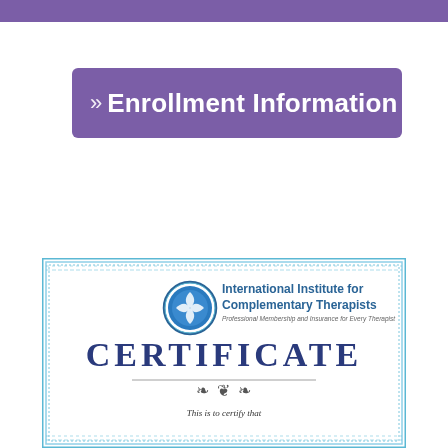Enrollment Information
[Figure (illustration): Certificate from the International Institute for Complementary Therapists with ornate blue border, IICT circular logo, text reading CERTIFICATE and This is to certify that]